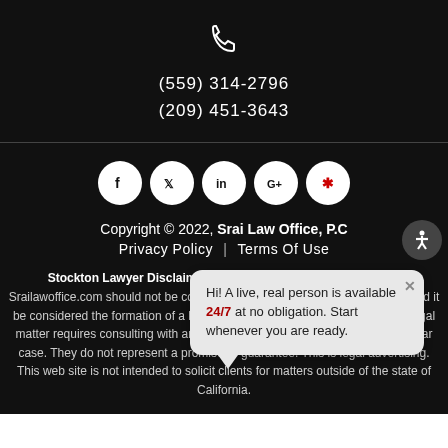[Figure (illustration): White telephone handset icon on black background]
(559) 314-2796
(209) 451-3643
[Figure (illustration): Social media icons: Facebook, Twitter, LinkedIn, Google+, Yelp — white circles on black background]
Copyright © 2022, Srai Law Office, P.C
Privacy Policy | Terms Of Use
Stockton Lawyer Disclaimer: The legal information presented on Srailawoffice.com should not be construed to be formal legal advice, nor should it be considered the formation of a lawyer or attorney client relationship. Any legal matter requires consulting with an attorney based upon the facts of a particular case. They do not represent a promise or guarantee. This is legal advertising. This web site is not intended to solicit clients for matters outside of the state of California.
Hi! A live, real person is available 24/7 at no obligation. Start whenever you are ready.